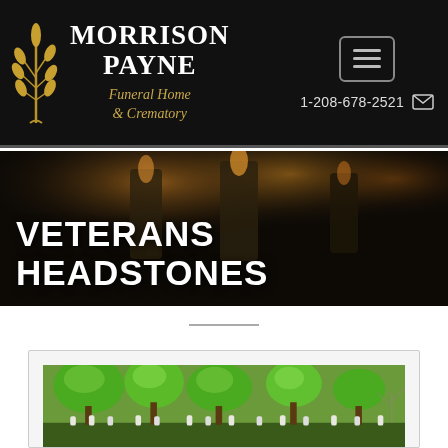Morrison Payne Funeral Home & Crematory — 1-208-678-2521
VETERANS HEADSTONES
[Figure (photo): Cemetery with rows of white headstones under green leafy trees in summer]
[Figure (illustration): Wheat sheaf logo icon for Morrison Payne Funeral Home]